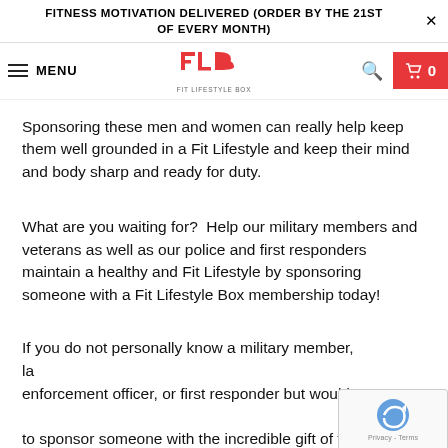FITNESS MOTIVATION DELIVERED (ORDER BY THE 21ST OF EVERY MONTH)
[Figure (logo): Fit Lifestyle Box logo — FLB in red with 'FIT LIFESTYLE BOX' subtitle]
Sponsoring these men and women can really help keep them well grounded in a Fit Lifestyle and keep their mind and body sharp and ready for duty.
What are you waiting for?  Help our military members and veterans as well as our police and first responders maintain a healthy and Fit Lifestyle by sponsoring someone with a Fit Lifestyle Box membership today!
If you do not personally know a military member, law enforcement officer, or first responder but would still like to sponsor someone with the incredible gift of fitness,